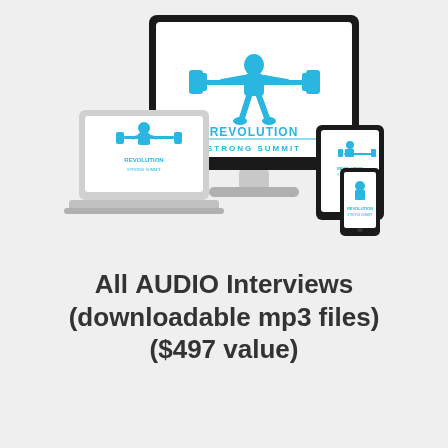[Figure (illustration): Three devices (iMac desktop monitor, laptop, tablet, and smartphone) each displaying the Revolution Strong Summit logo — a cyan/blue muscular figure lifting a barbell with the text REVOLUTION STRONG SUMMIT below it.]
All AUDIO Interviews (downloadable mp3 files) ($497 value)